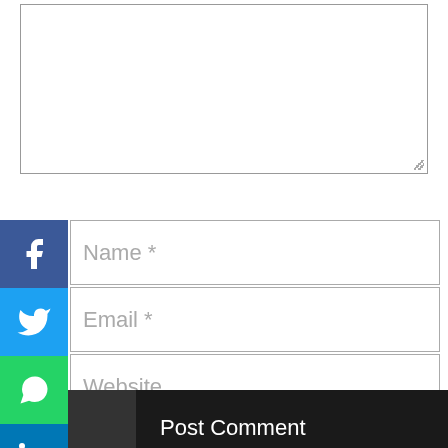[Figure (screenshot): Comment form textarea input box (empty, resizable)]
[Figure (infographic): Social sharing sidebar with Facebook, Twitter, WhatsApp, LinkedIn, Pinterest, Telegram, and Share (+) icons stacked vertically on the left side]
[Figure (screenshot): Name input field with placeholder text 'Name *']
[Figure (screenshot): Email input field with placeholder text 'Email *']
[Figure (screenshot): Website input field with placeholder text 'Website']
Save My Name, Email, And Website In This Browser For The Next Time I Comment.
[Figure (screenshot): Post Comment button with dark background]